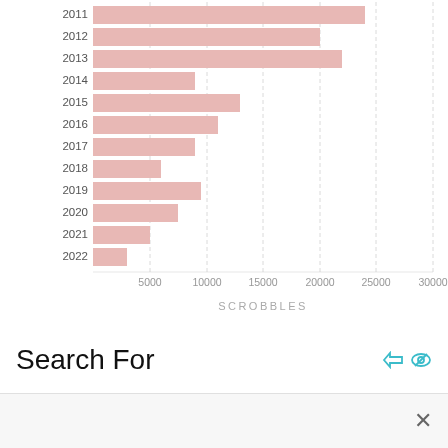[Figure (bar-chart): Scrobbles by Year]
Search For